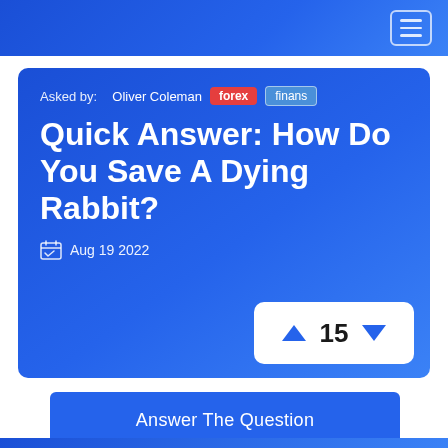Asked by: Oliver Coleman forex finans
Quick Answer: How Do You Save A Dying Rabbit?
Aug 19 2022
▲ 15 ▼
Answer The Question